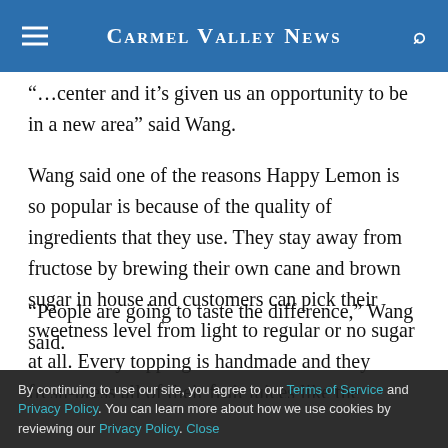Carmel Valley News
center and it’s given us an opportunity to be in a new area” said Wang.
Wang said one of the reasons Happy Lemon is so popular is because of the quality of ingredients that they use. They stay away from fructose by brewing their own cane and brown sugar in house and customers can pick their sweetness level from light to regular or no sugar at all. Every topping is handmade and they fresh-press all of their fruit juices like the popular lemonade.
“People are going to taste the difference,” Wang said.
By continuing to use our site, you agree to our Terms of Service and Privacy Policy. You can learn more about how we use cookies by reviewing our Privacy Policy. Close